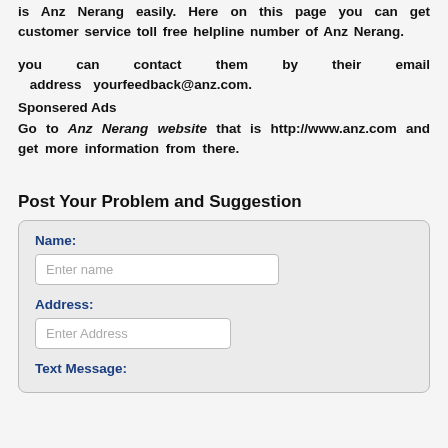is Anz Nerang easily. Here on this page you can get customer service toll free helpline number of Anz Nerang.
you can contact them by their email address yourfeedback@anz.com.
Sponsered Ads
Go to Anz Nerang website that is http://www.anz.com and get more information from there.
Post Your Problem and Suggestion
[Figure (other): A web form with fields: Name (Enter name), Address (Enter Address), and Text Message label visible at the bottom. Fields are input boxes with placeholder text.]